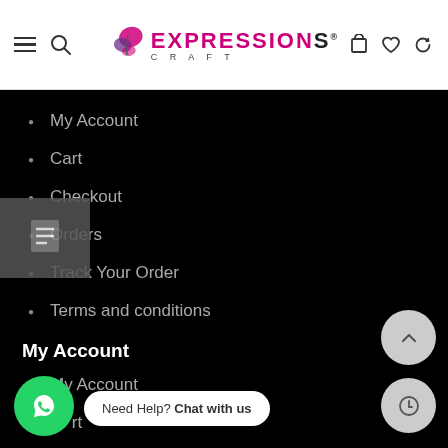[Figure (logo): Expressions Craft logo with butterfly icon, magenta and dark text, CRAFT subtitle]
My Account
Cart
Checkout
Orders
Track Your Order
Terms and conditions
My Account
My Account
Cart
Checkout
Need Help? Chat with us